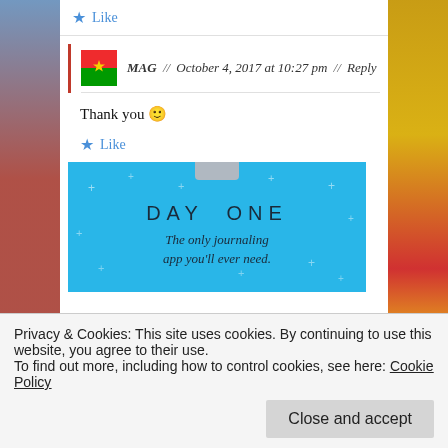★ Like
MAG // October 4, 2017 at 10:27 pm // Reply
Thank you 🙂
★ Like
[Figure (screenshot): DAY ONE app advertisement banner — light blue background with sparkle dots, grey tab at top, text: 'DAY ONE — The only journaling app you'll ever need.']
Privacy & Cookies: This site uses cookies. By continuing to use this website, you agree to their use.
To find out more, including how to control cookies, see here: Cookie Policy
Close and accept